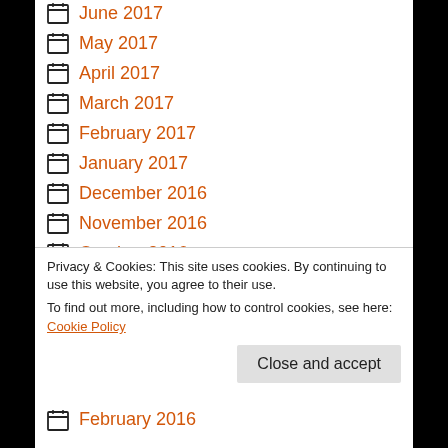June 2017
May 2017
April 2017
March 2017
February 2017
January 2017
December 2016
November 2016
October 2016
September 2016
August 2016
July 2016
Privacy & Cookies: This site uses cookies. By continuing to use this website, you agree to their use. To find out more, including how to control cookies, see here: Cookie Policy
February 2016